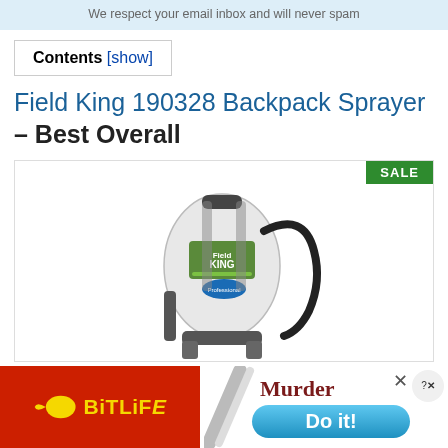We respect your email inbox and will never spam
Contents [show]
Field King 190328 Backpack Sprayer – Best Overall
[Figure (photo): Field King 190328 backpack sprayer product photo, white tank with black hose and pump mechanism, SALE badge in top-right corner]
[Figure (other): Advertisement banner: BitLife game ad on left (red background with yellow BitLife logo), Murder/Do it! game ad on right with blue pill-shaped button]